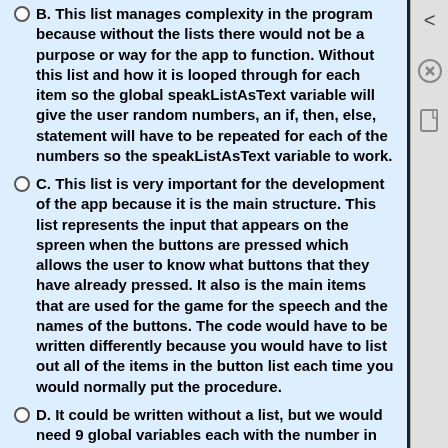B. This list manages complexity in the program because without the lists there would not be a purpose or way for the app to function. Without this list and how it is looped through for each item so the global speakListAsText variable will give the user random numbers, an if, then, else, statement will have to be repeated for each of the numbers so the speakListAsText variable to work.
C. This list is very important for the development of the app because it is the main structure. This list represents the input that appears on the spreen when the buttons are pressed which allows the user to know what buttons that they have already pressed. It also is the main items that are used for the game for the speech and the names of the buttons. The code would have to be written differently because you would have to list out all of the items in the button list each time you would normally put the procedure.
D. It could be written without a list, but we would need 9 global variables each with the number in